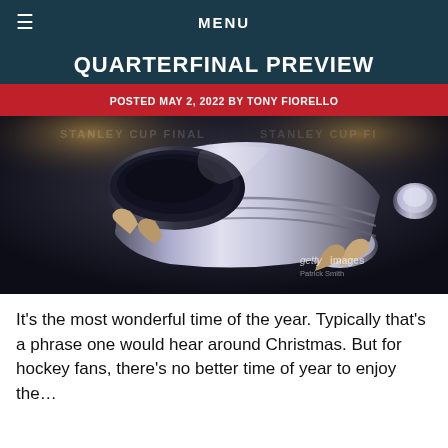MENU
QUARTERFINAL PREVIEW
POSTED MAY 2, 2022 BY TONY FIORELLO
[Figure (photo): A hockey player lifting the Stanley Cup trophy overhead in a dark arena setting. Getty Images watermark visible.]
It's the most wonderful time of the year. Typically that's a phrase one would hear around Christmas. But for hockey fans, there's no better time of year to enjoy the…